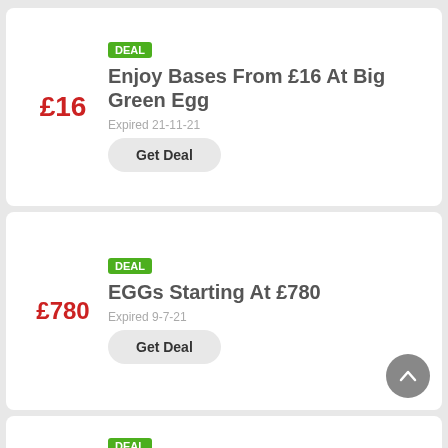DEAL
Enjoy Bases From £16 At Big Green Egg
Expired 21-11-21
Get Deal
DEAL
EGGs Starting At £780
Expired 9-7-21
Get Deal
DEAL
Big Green Egg -